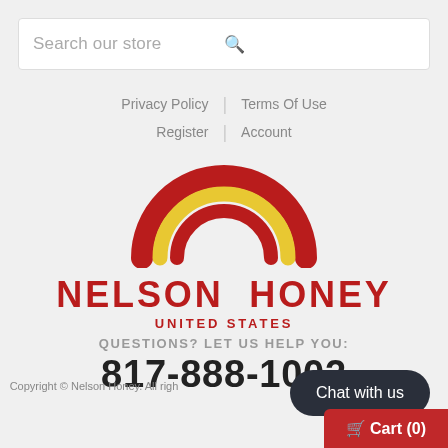[Figure (screenshot): Search bar with placeholder text 'Search our store' and a search icon on the right]
Privacy Policy | Terms Of Use
Register | Account
[Figure (logo): Nelson Honey United States logo with rainbow arc in red and yellow above the brand name]
QUESTIONS? LET US HELP YOU:
817-888-1002
Copyright © Nelson Honey. All rights reserved.
[Figure (other): Chat with us button (dark rounded pill)]
[Figure (other): Cart (0) button in red at bottom right]